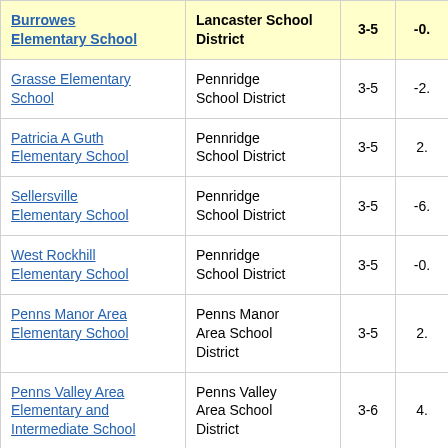| School | District | Grades | Value |
| --- | --- | --- | --- |
| Burrowes Elementary School | Lancaster School District | 3-5 | -0. |
| Grasse Elementary School | Pennridge School District | 3-5 | -2. |
| Patricia A Guth Elementary School | Pennridge School District | 3-5 | 2. |
| Sellersville Elementary School | Pennridge School District | 3-5 | -6. |
| West Rockhill Elementary School | Pennridge School District | 3-5 | -0. |
| Penns Manor Area Elementary School | Penns Manor Area School District | 3-5 | 2. |
| Penns Valley Area Elementary and Intermediate School | Penns Valley Area School District | 3-6 | 4. |
| Penn Valley Elementary School | Pennsbury School District | 3-5 | -1. |